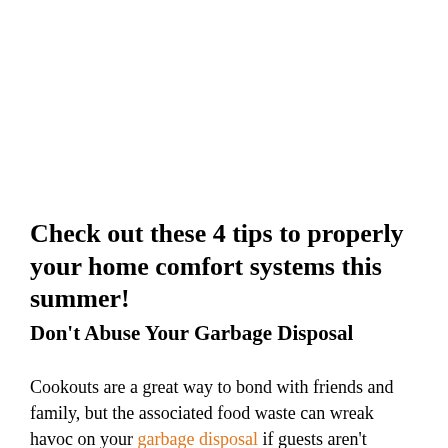Check out these 4 tips to properly your home comfort systems this summer!
Don't Abuse Your Garbage Disposal
Cookouts are a great way to bond with friends and family, but the associated food waste can wreak havoc on your garbage disposal if guests aren't careful about what they put in it. For example, bones can't be ground; they'll just spin around the blades and damage your investment like a